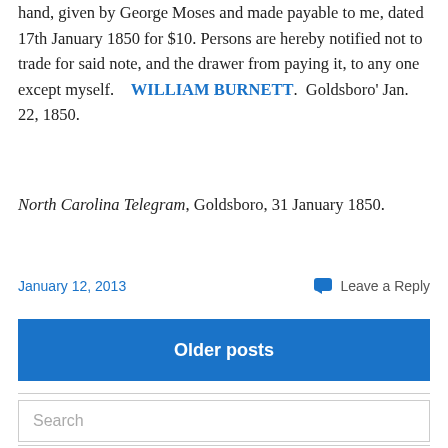hand, given by George Moses and made payable to me, dated 17th January 1850 for $10. Persons are hereby notified not to trade for said note, and the drawer from paying it, to any one except myself.    WILLIAM BURNETT.  Goldsboro' Jan. 22, 1850.
North Carolina Telegram, Goldsboro, 31 January 1850.
January 12, 2013
Leave a Reply
Older posts
Search